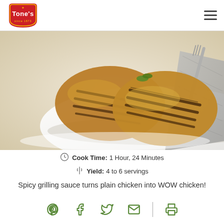[Figure (logo): Tone's spice brand logo - red shield shape with yellow text 'Tone's' and 'since 1873']
[Figure (photo): Two grilled chicken breasts with grill marks on a white plate with a fork and napkin]
Cook Time: 1 Hour, 24 Minutes
Yield: 4 to 6 servings
Spicy grilling sauce turns plain chicken into WOW chicken!
[Figure (infographic): Social sharing icons: Pinterest, Facebook, Twitter, Email (divider), Print]